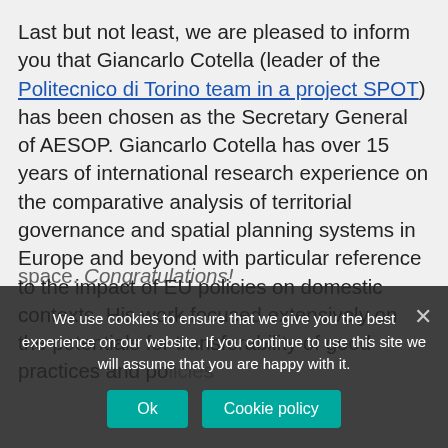Last but not least, we are pleased to inform you that Giancarlo Cotella (leader of the Politecnico di Torino team in a project SPOT) has been chosen as the Secretary General of AESOP. Giancarlo Cotella has over 15 years of international research experience on the comparative analysis of territorial governance and spatial planning systems in Europe and beyond with particular reference to the impact of EU policies on domestic contexts. His work focused extensively on the potentials for transferability of good practices and policies... space. Congratulations!
We use cookies to ensure that we give you the best experience on our website. If you continue to use this site we will assume that you are happy with it.